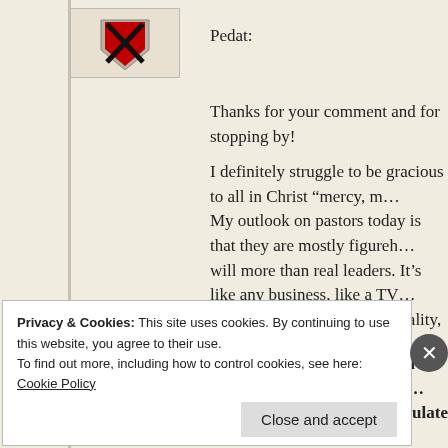[Figure (logo): Red and black shield/crest avatar icon]
Pedat:
Thanks for your comment and for stopping by!
I definitely struggle to be gracious to all in Christ “mercy, m… My outlook on pastors today is that they are mostly figureh… will more than real leaders. It’s like any business, like a TV… some algorithm not for its quality, but for how well it will s… are simply products of consumerism at work.
2 Timothy 4:3
For the time is coming when people will not endure sour… itching ears they will accumulate for themselves teacher…
Privacy & Cookies: This site uses cookies. By continuing to use this website, you agree to their use.
To find out more, including how to control cookies, see here: Cookie Policy
Close and accept